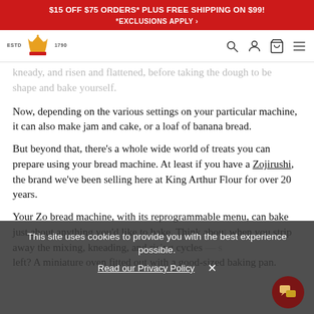$15 OFF $75 ORDERS* PLUS FREE SHIPPING ON $99! *EXCLUSIONS APPLY
[Figure (logo): King Arthur Flour crown logo with ESTD 1790 text, plus navigation icons (search, account, cart, hamburger menu)]
kneady, and risen and flattened, before taking the dough to be shape and bake yourself.
Now, depending on the various settings on your particular machine, it can also make jam and cake, or a loaf of banana bread.
But beyond that, there's a whole wide world of treats you can prepare using your bread machine. At least if you have a Zojirushi, the brand we've been selling here at King Arthur Flour for over 20 years.
Your Zo bread machine, with its reprogrammable menu, can bake just about anything you'd like to bake. Think about what's left when you strip away the mixing, kneading, and rising cycles — what's left? A miniature oven fitted out with a good-sized baking pan.
This site uses cookies to provide you with the best experience possible. Read our Privacy Policy